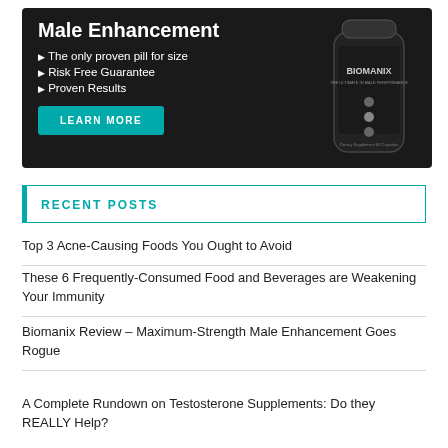[Figure (infographic): Biomanix male enhancement advertisement banner with dark background, product bottle on right, bullet points and LEARN MORE button on left]
RECENT POSTS
Top 3 Acne-Causing Foods You Ought to Avoid
These 6 Frequently-Consumed Food and Beverages are Weakening Your Immunity
Biomanix Review – Maximum-Strength Male Enhancement Goes Rogue
A Complete Rundown on Testosterone Supplements: Do they REALLY Help?